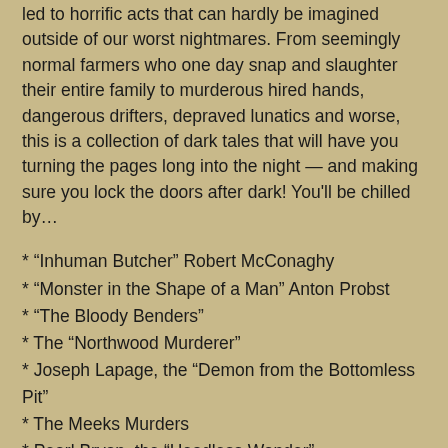led to horrific acts that can hardly be imagined outside of our worst nightmares. From seemingly normal farmers who one day snap and slaughter their entire family to murderous hired hands, dangerous drifters, depraved lunatics and worse, this is a collection of dark tales that will have you turning the pages long into the night — and making sure you lock the doors after dark! You'll be chilled by…
* “Inhuman Butcher” Robert McConaghy
* “Monster in the Shape of a Man” Anton Probst
* “The Bloody Benders”
* The “Northwood Murderer”
* Joseph Lapage, the “Demon from the Bottomless Pit”
* The Meeks Murders
* Pearl Bryan, the “Headless Wonder”
* Belle Gunness
* The “Blueboard of Quiet Dell”